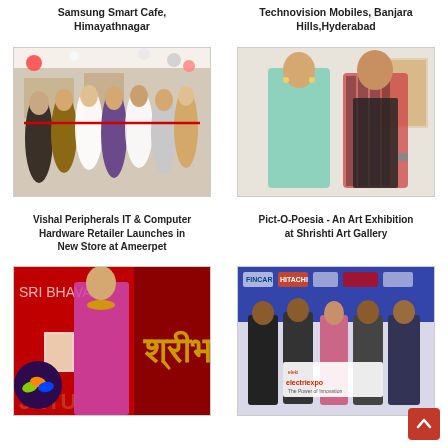Samsung Smart Cafe, Himayathnagar
Technovision Mobiles, Banjara Hills,Hyderabad
[Figure (photo): Group of people cutting a ribbon at Samsung Smart Cafe launch event]
[Figure (photo): Two people posing at Technovision Mobiles, Banjara Hills, Hyderabad]
Vishal Peripherals IT & Computer Hardware Retailer Launches in New Store at Ameerpet
Pict-O-Poesia - An Art Exhibition at Shrishti Art Gallery
[Figure (photo): Sri Bhavani jewellery store promotional event with model in traditional attire]
[Figure (photo): Electric Expo event with group of people holding a banner/check]